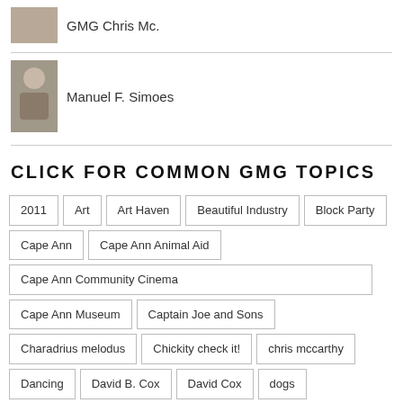GMG Chris Mc.
[Figure (photo): Profile photo of Manuel F. Simoes]
Manuel F. Simoes
CLICK FOR COMMON GMG TOPICS
2011
Art
Art Haven
Beautiful Industry
Block Party
Cape Ann
Cape Ann Animal Aid
Cape Ann Community Cinema
Cape Ann Museum
Captain Joe and Sons
Charadrius melodus
Chickity check it!
chris mccarthy
Dancing
David B. Cox
David Cox
dogs
Donna Ardizzoni